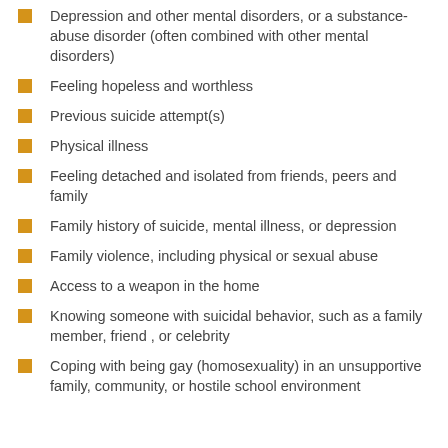Depression and other mental disorders, or a substance-abuse disorder (often combined with other mental disorders)
Feeling hopeless and worthless
Previous suicide attempt(s)
Physical illness
Feeling detached and isolated from friends, peers and family
Family history of suicide, mental illness, or depression
Family violence, including physical or sexual abuse
Access to a weapon in the home
Knowing someone with suicidal behavior, such as a family member, friend , or celebrity
Coping with being gay (homosexuality) in an unsupportive family, community, or hostile school environment